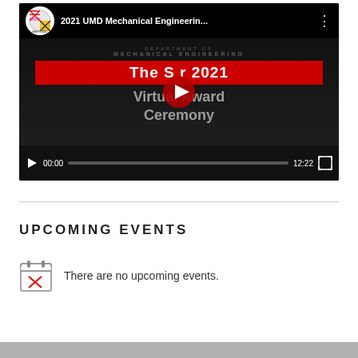[Figure (screenshot): YouTube video player showing '2021 UMD Mechanical Engineerin...' with University of Maryland logo, video paused at 00:00 of 12:22, showing virtual award ceremony screen]
UPCOMING EVENTS
There are no upcoming events.